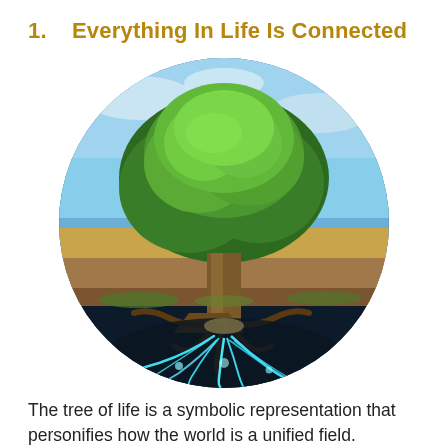1.    Everything In Life Is Connected
[Figure (illustration): A circular image of a tree of life — a large tree with green foliage above ground, exposed roots below, and glowing electric blue energy/roots extending beneath into dark soil, set against a sky background.]
The tree of life is a symbolic representation that personifies how the world is a unified field. Everything